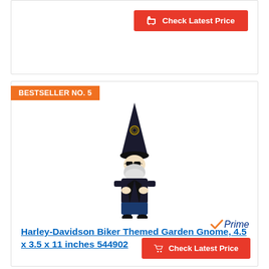[Figure (other): Red 'Check Latest Price' button with shopping cart icon at top of page]
BESTSELLER NO. 5
[Figure (photo): Harley-Davidson themed garden gnome wearing a black biker jacket, sunglasses, black hat with logo, and jeans. White beard. Standing pose.]
Harley-Davidson Biker Themed Garden Gnome, 4.5 x 3.5 x 11 inches 544902
[Figure (logo): Amazon Prime logo - orange checkmark with 'Prime' text in blue italic]
[Figure (other): Red 'Check Latest Price' button with shopping cart icon]